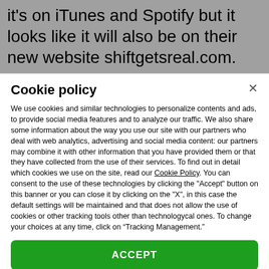it's on iTunes and Spotify but it looks like it will also be on their new website shiftgetsreal.com.
Cookie policy
We use cookies and similar technologies to personalize contents and ads, to provide social media features and to analyze our traffic. We also share some information about the way you use our site with our partners who deal with web analytics, advertising and social media content: our partners may combine it with other information that you have provided them or that they have collected from the use of their services. To find out in detail which cookies we use on the site, read our Cookie Policy. You can consent to the use of these technologies by clicking the "Accept" button on this banner or you can close it by clicking on the "X", in this case the default settings will be maintained and that does not allow the use of cookies or other tracking tools other than technologycal ones. To change your choices at any time, click on “Tracking Management.”
ACCEPT
TRACKERS MANAGEMENT
Show vendors | Show purposes